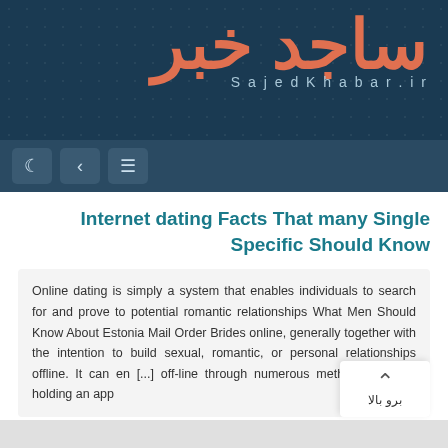[Figure (logo): SajedKhabar.ir website header with Arabic logo in orange/salmon color on dark teal background with dot grid pattern]
SajedKhabar.ir
Internet dating Facts That many Single Specific Should Know
Online dating is simply a system that enables individuals to search for and prove to potential romantic relationships What Men Should Know About Estonia Mail Order Brides online, generally together with the intention to build sexual, romantic, or personal relationships offline. It can en... [...] off-line through numerous methods just like holding an app
انتشار : شهریور ۱۳, ۱۳۹۹ ق.ظ 0:00 - کد خبر : ۷۰۸۱ - مشاهده : ۵۹